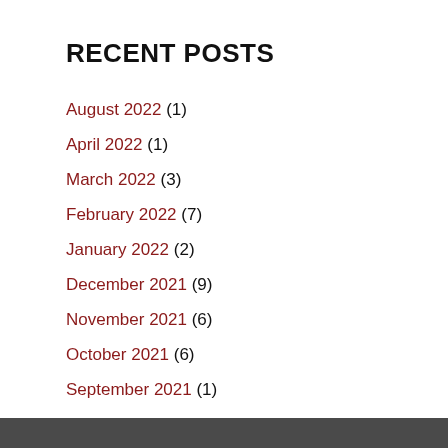RECENT POSTS
August 2022 (1)
April 2022 (1)
March 2022 (3)
February 2022 (7)
January 2022 (2)
December 2021 (9)
November 2021 (6)
October 2021 (6)
September 2021 (1)
August 2021 (2)